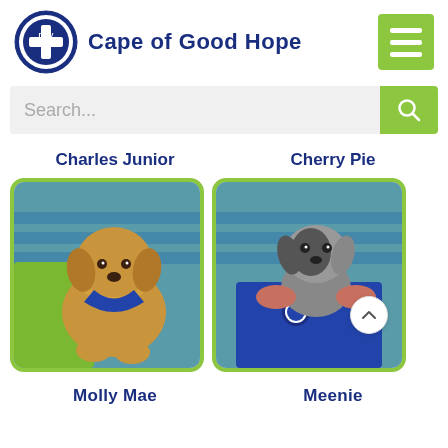[Figure (logo): DBV SPCA circular logo with blue cross and white text, next to 'Cape of Good Hope' organization name]
Cape of Good Hope
[Figure (other): Green hamburger menu button with three white horizontal lines]
[Figure (other): Search bar with 'Search...' placeholder text and green search button]
Charles Junior
Cherry Pie
[Figure (photo): Photo of a fluffy golden/light brown dog wearing a blue bandana, held by a person in a green shirt, with blue background]
[Figure (photo): Photo of a small black and white puppy being held by a person in a blue SPCA shirt, with blue background]
Molly Mae
Meenie